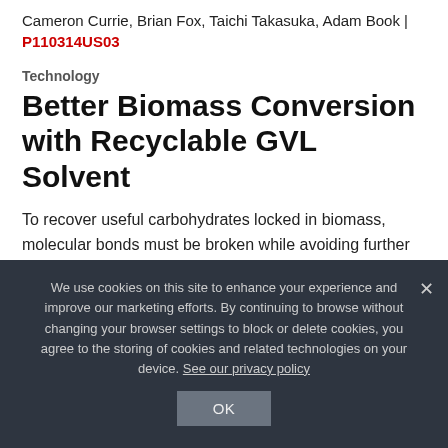Cameron Currie, Brian Fox, Taichi Takasuka, Adam Book | P110314US03
Technology
Better Biomass Conversion with Recyclable GVL Solvent
To recover useful carbohydrates locked in biomass, molecular bonds must be broken while avoiding further reaction of the resulting glucose and xylose sugars. This is a challenge because glucose can de...
We use cookies on this site to enhance your experience and improve our marketing efforts. By continuing to browse without changing your browser settings to block or delete cookies, you agree to the storing of cookies and related technologies on your device. See our privacy policy